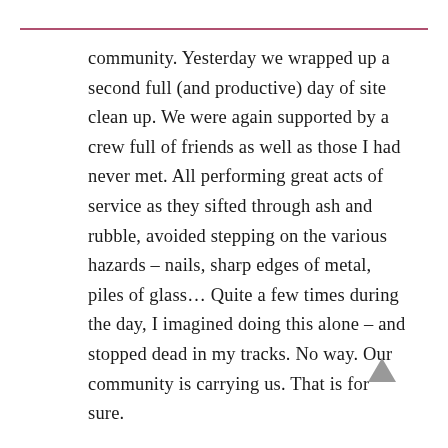community.  Yesterday we wrapped up a second full (and productive) day of site clean up. We were again supported by a crew full of friends as well as those I had never met.  All performing great acts of service as they sifted through ash and rubble, avoided stepping on the various hazards – nails, sharp edges of metal, piles of glass…  Quite a few times during the day, I imagined doing this alone – and stopped dead in my tracks.  No way.  Our community is carrying us.  That is for sure.